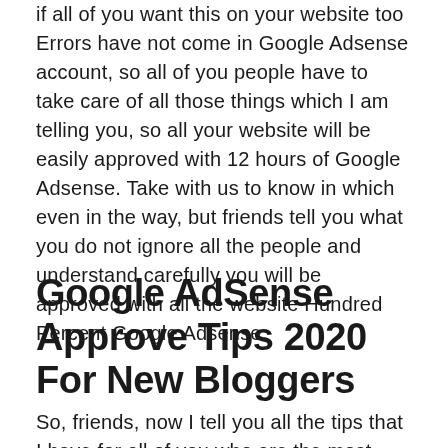if all of you want this on your website too Errors have not come in Google Adsense account, so all of you people have to take care of all those things which I am telling you, so all your website will be easily approved with 12 hours of Google Adsense. Take with us to know in which even in the way, but friends tell you what you do not ignore all the people and understand carefully you will be approved with all the website Hundred Percent Google Adsense.
Google AdSense Approve Tips 2020 For New Bloggers
So, friends, now I tell you all the tips that I have for all of you who are the most new